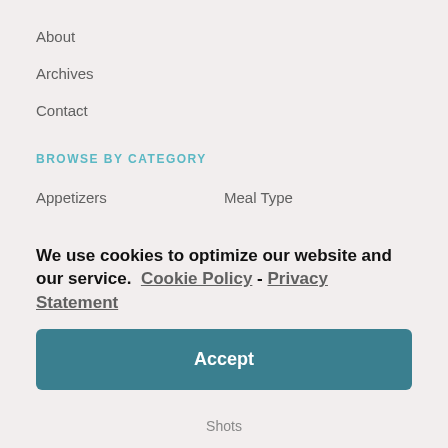About
Archives
Contact
BROWSE BY CATEGORY
Appetizers
Meal Type
Beer Cocktails
Mocktails
Breakfast
Mulled Wine
We use cookies to optimize our website and our service.  Cookie Policy - Privacy Statement
Accept
Shots